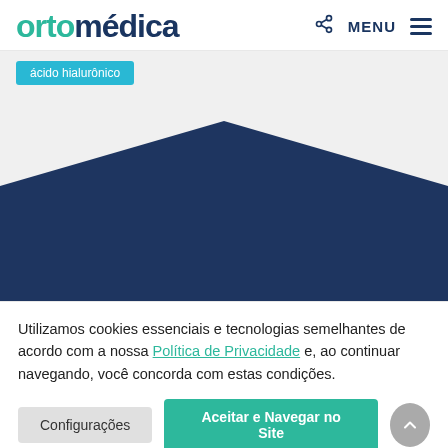ortomedica - MENU
ácido hialurônico
[Figure (illustration): Dark navy blue chevron/triangle shape pointing upward against a light grey background, forming a decorative section divider]
Utilizamos cookies essenciais e tecnologias semelhantes de acordo com a nossa Política de Privacidade e, ao continuar navegando, você concorda com estas condições.
Configurações
Aceitar e Navegar no Site